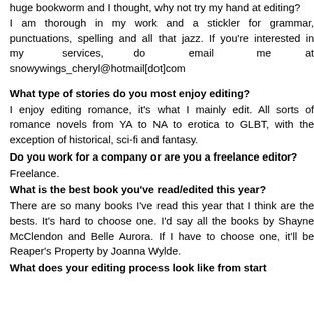huge bookworm and I thought, why not try my hand at editing?
I am thorough in my work and a stickler for grammar, punctuations, spelling and all that jazz. If you're interested in my services, do email me at snowywings_cheryl@hotmail[dot]com
What type of stories do you most enjoy editing?
I enjoy editing romance, it's what I mainly edit. All sorts of romance novels from YA to NA to erotica to GLBT, with the exception of historical, sci-fi and fantasy.
Do you work for a company or are you a freelance editor?
Freelance.
What is the best book you've read/edited this year?
There are so many books I've read this year that I think are the bests. It's hard to choose one. I'd say all the books by Shayne McClendon and Belle Aurora. If I have to choose one, it'll be Reaper's Property by Joanna Wylde.
What does your editing process look like from start?